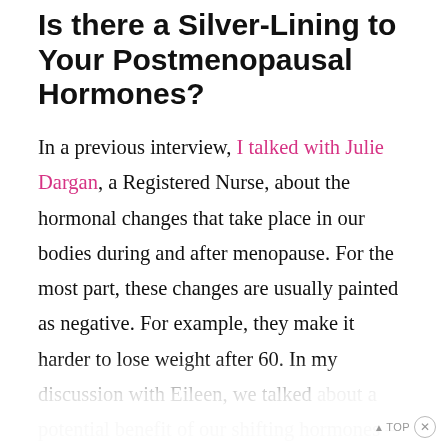Is there a Silver-Lining to Your Postmenopausal Hormones?
In a previous interview, I talked with Julie Dargan, a Registered Nurse, about the hormonal changes that take place in our bodies during and after menopause. For the most part, these changes are usually painted as negative. For example, they make it harder to lose weight after 60. In my discussion with Eileen, we talked about a potential benefit of our shifting hormones – the fact that our new bodies